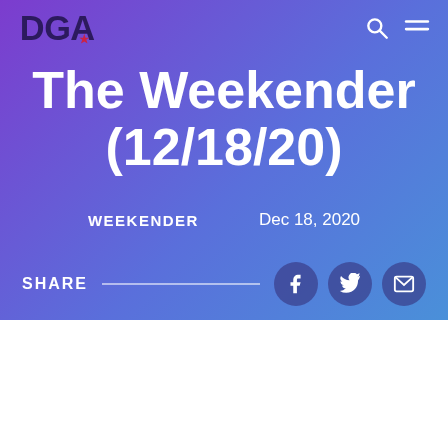DGA
The Weekender (12/18/20)
WEEKENDER    Dec 18, 2020
SHARE